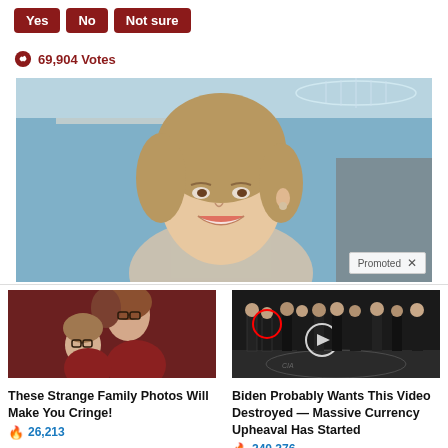Yes  No  Not sure
69,904 Votes
[Figure (photo): Main photo of a smiling woman in formal attire with chandelier and blue interior background. Promoted badge visible at bottom right.]
[Figure (photo): Thumbnail of vintage family portrait photo with older woman and child wearing large glasses against red background.]
These Strange Family Photos Will Make You Cringe!
26,213
[Figure (photo): Thumbnail of group of men in suits standing in a row, appears to be at CIA headquarters with logo visible on floor. Red circle highlights one figure, white circle highlights another with video play button overlay.]
Biden Probably Wants This Video Destroyed — Massive Currency Upheaval Has Started
240,276